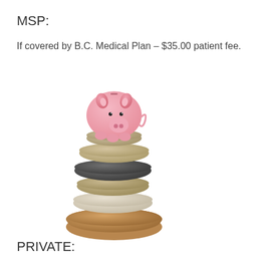MSP:
If covered by B.C. Medical Plan – $35.00 patient fee.
[Figure (illustration): A pink piggy bank sitting on top of a stack of balanced stones (pebbles) of varying sizes and colors — tan, dark grey, beige, light cream, and brown — stacked from largest at bottom to smallest at top, with the piggy bank on the very top.]
PRIVATE: